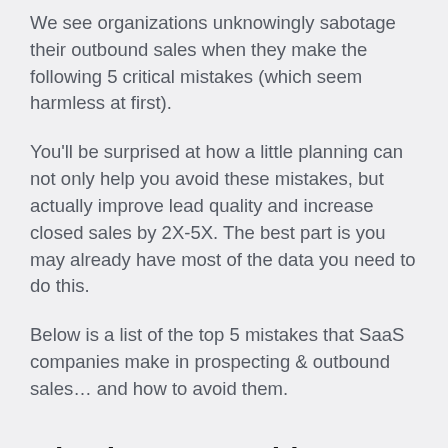We see organizations unknowingly sabotage their outbound sales when they make the following 5 critical mistakes (which seem harmless at first).
You'll be surprised at how a little planning can not only help you avoid these mistakes, but actually improve lead quality and increase closed sales by 2X-5X. The best part is you may already have most of the data you need to do this.
Below is a list of the top 5 mistakes that SaaS companies make in prospecting & outbound sales… and how to avoid them.
Mistake #1: Reaching out to prospects without defining